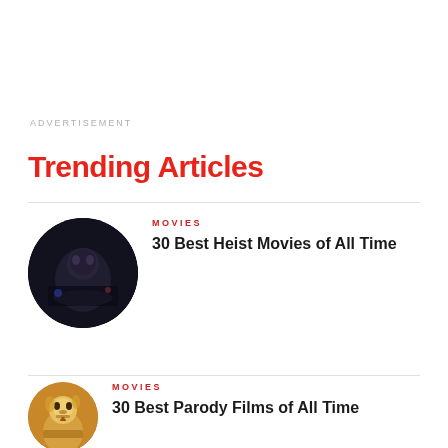ADVERTISEMENT
Trending Articles
MOVIES
30 Best Heist Movies of All Time
MOVIES
30 Best Parody Films of All Time